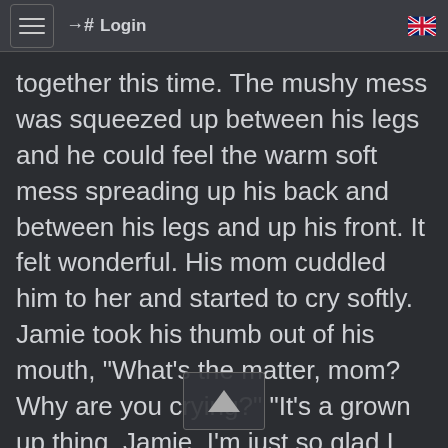Login
together this time. The mushy mess was squeezed up between his legs and he could feel the warm soft mess spreading up his back and between his legs and up his front. It felt wonderful. His mom cuddled him to her and started to cry softly. Jamie took his thumb out of his mouth, "What's the matter, mom? Why are you crying?" "It's a grown up thing, Jamie. I'm just so glad I have you and you're such a wonderful son."
After a while of cuddling him and rocking him gently, his mom lifted him up and stood him on the plastic sheet. She'd calculated